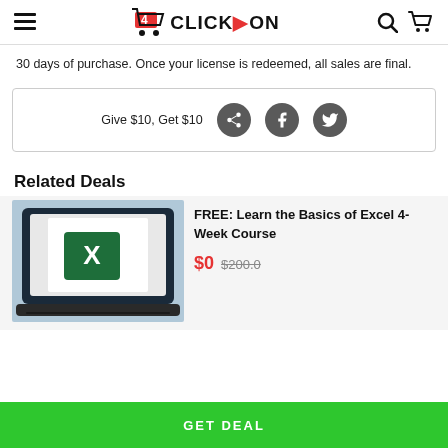4 CLICK ON
30 days of purchase. Once your license is redeemed, all sales are final.
Give $10, Get $10
Related Deals
[Figure (photo): Laptop with Microsoft Excel logo on screen]
FREE: Learn the Basics of Excel 4-Week Course
$0  $200.0